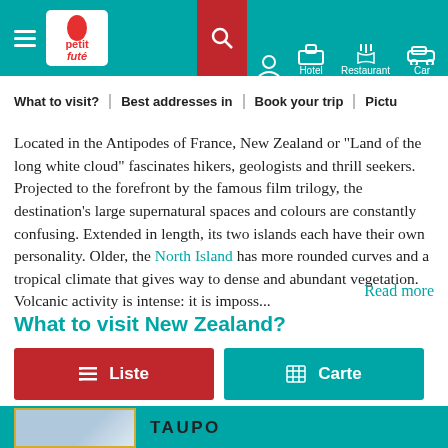Petit Futé — Hotel | Restaurant | Car
What to visit? | Best addresses in | Book your trip | Pictu
Located in the Antipodes of France, New Zealand or "Land of the long white cloud" fascinates hikers, geologists and thrill seekers. Projected to the forefront by the famous film trilogy, the destination's large supernatural spaces and colours are constantly confusing. Extended in length, its two islands each have their own personality. Older, the North Island has more rounded curves and a tropical climate that gives way to dense and abundant vegetation. Volcanic activity is intense: it is imposs...
Read more
What to visit New Zealand?
≡ Liste
⊞ Carte
TAUPO